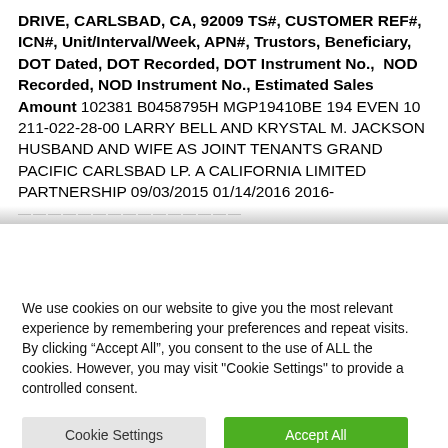DRIVE, CARLSBAD, CA, 92009 TS#, CUSTOMER REF#, ICN#, Unit/Interval/Week, APN#, Trustors, Beneficiary, DOT Dated, DOT Recorded, DOT Instrument No., NOD Recorded, NOD Instrument No., Estimated Sales Amount 102381 B0458795H MGP19410BE 194 EVEN 10 211-022-28-00 LARRY BELL AND KRYSTAL M. JACKSON HUSBAND AND WIFE AS JOINT TENANTS GRAND PACIFIC CARLSBAD LP. A CALIFORNIA LIMITED PARTNERSHIP 09/03/2015 01/14/2016 2016-...
We use cookies on our website to give you the most relevant experience by remembering your preferences and repeat visits. By clicking “Accept All”, you consent to the use of ALL the cookies. However, you may visit "Cookie Settings" to provide a controlled consent.